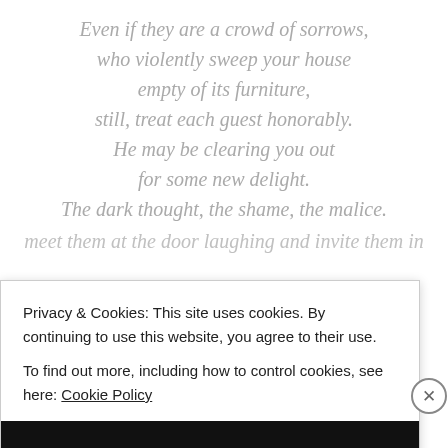Even if they are a crowd of sorrows, who violently sweep your house empty of its furniture, still, treat each guest honorably. He may be clearing you out for some new delight. The dark thought, the shame, the malice. meet them at the door laughing and invite them in
Privacy & Cookies: This site uses cookies. By continuing to use this website, you agree to their use.
To find out more, including how to control cookies, see here: Cookie Policy
Close and accept